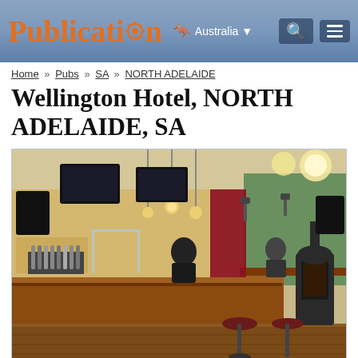Publocation — Australia
Home » Pubs » SA » NORTH ADELAIDE
Wellington Hotel, NORTH ADELAIDE, SA
[Figure (photo): Interior of Wellington Hotel bar showing a wooden bar counter, beer taps, bar stools, hanging pendant lights, flat-screen TVs mounted on ceiling, a wood-burning stove in the background, and a bartender behind the counter.]